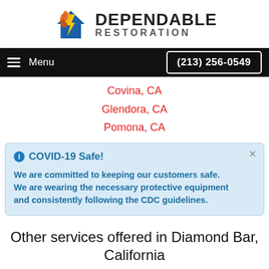[Figure (logo): Dependable Restoration logo with flame/house icon and bold text]
Menu   (213) 256-0549
Covina, CA
Glendora, CA
Pomona, CA
COVID-19 Safe! We are committed to keeping our customers safe. We are wearing the necessary protective equipment and consistently following the CDC guidelines.
Other services offered in Diamond Bar, California